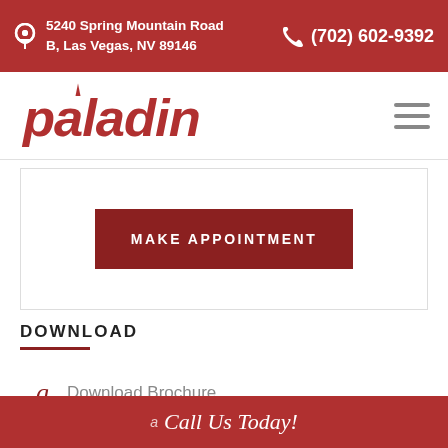5240 Spring Mountain Road B, Las Vegas, NV 89146 | (702) 602-9392
[Figure (logo): Paladin logo in red italic script font]
MAKE APPOINTMENT
DOWNLOAD
Download Brochure
Call Us Today!